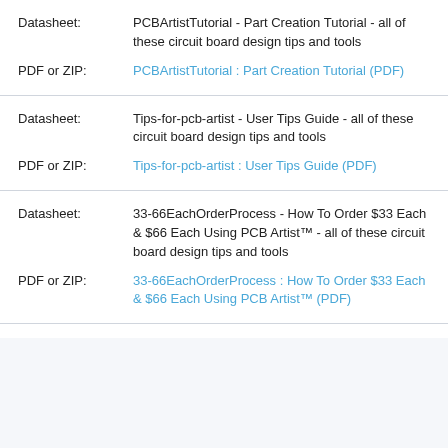Datasheet: PCBArtistTutorial - Part Creation Tutorial - all of these circuit board design tips and tools
PDF or ZIP: PCBArtistTutorial : Part Creation Tutorial (PDF)
Datasheet: Tips-for-pcb-artist - User Tips Guide - all of these circuit board design tips and tools
PDF or ZIP: Tips-for-pcb-artist : User Tips Guide (PDF)
Datasheet: 33-66EachOrderProcess - How To Order $33 Each & $66 Each Using PCB Artist™ - all of these circuit board design tips and tools
PDF or ZIP: 33-66EachOrderProcess : How To Order $33 Each & $66 Each Using PCB Artist™ (PDF)